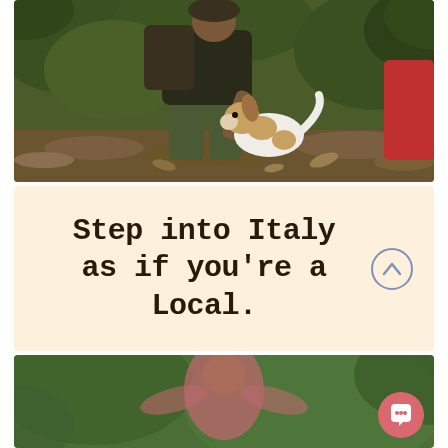[Figure (photo): A person crouching in a forest, petting or interacting with a small dog (appears to be a beagle or hound). Forest floor with leaves visible. Another person partially visible in background.]
Step into Italy as if you're a Local.
[Figure (photo): A blurred outdoor photo showing a person in a pink top standing in a green forested area. Image is intentionally blurred/pixelated.]